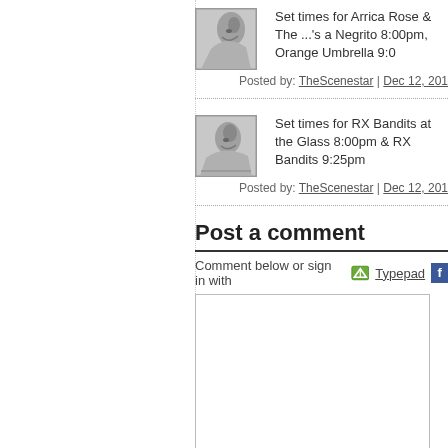[Figure (photo): Black and white thumbnail image of a person, top post]
Set times for Arrica Rose & The ...'s a Negrito 8:00pm, Orange Umbrella 9:0
Posted by: TheScenestar | Dec 12, 201
[Figure (photo): Black and white thumbnail image of a person, second post]
Set times for RX Bandits at the Glass 8:00pm & RX Bandits 9:25pm
Posted by: TheScenestar | Dec 12, 201
Post a comment
Comment below or sign in with Typepad